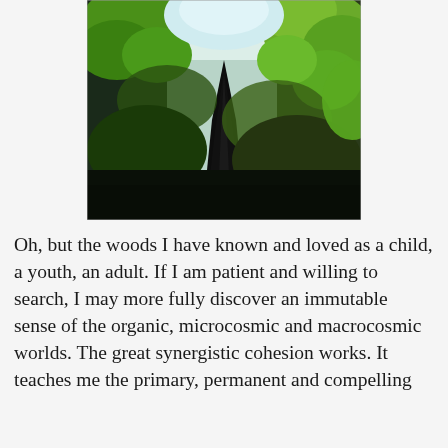[Figure (photo): Upward view of tall redwood or forest trees, with dark trunk silhouette in center and bright green leafy canopy surrounding it against a bright sky.]
Oh, but the woods I have known and loved as a child, a youth, an adult. If I am patient and willing to search, I may more fully discover an immutable sense of the organic, microcosmic and macrocosmic worlds. The great synergistic cohesion works. It teaches me the primary, permanent and compelling...